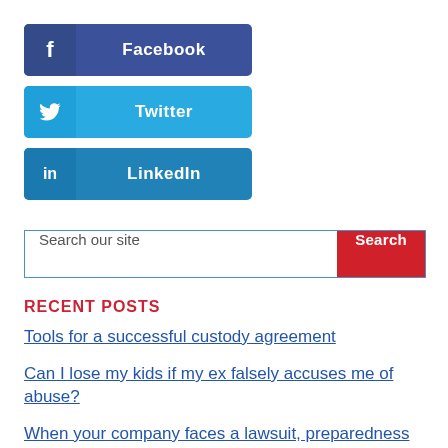[Figure (other): Facebook social share button with 'f' icon on left and 'Facebook' label]
[Figure (other): Twitter social share button with bird icon on left and 'Twitter' label]
[Figure (other): LinkedIn social share button with 'in' icon on left and 'LinkedIn' label]
Search our site
RECENT POSTS
Tools for a successful custody agreement
Can I lose my kids if my ex falsely accuses me of abuse?
When your company faces a lawsuit, preparedness goes a long way